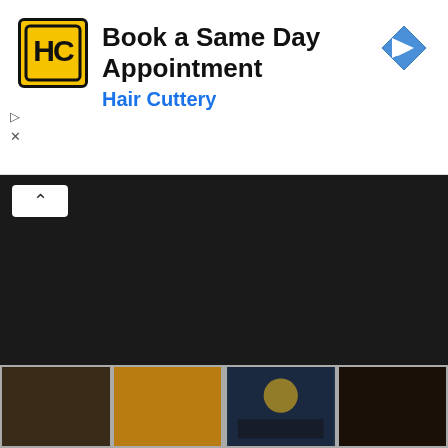[Figure (screenshot): Advertisement banner for Hair Cuttery: 'Book a Same Day Appointment' with HC logo in yellow square and navigation arrow icon]
[Figure (photo): Twilight movie poster showing two characters (Edward and Bella) in dark dramatic lighting with the text 'twilight' in large letters and tagline 'When you can live forever, what do you live for?' and date '22·12·08'. URL www.twilightthemovie.com shown at bottom.]
[Figure (screenshot): Row of four thumbnail images at the bottom of the page showing various scenes/photos in muted colors]